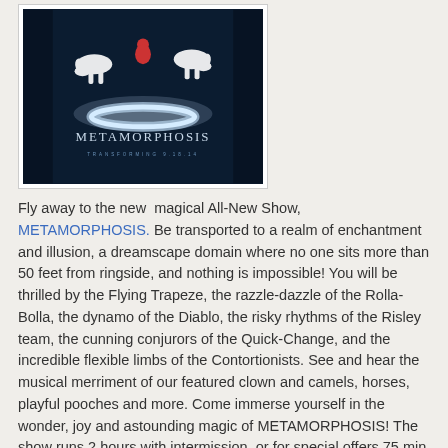[Figure (photo): Promotional poster for the circus show METAMORPHOSIS. Dark blue background with white horses leaping, a glowing white ring/halo in the center, and the title 'METAMORPHOSIS' in silver letters. Subtitle reads 'TRANSFORMING 9.18.14'.]
Fly away to the new magical All-New Show, METAMORPHOSIS. Be transported to a realm of enchantment and illusion, a dreamscape domain where no one sits more than 50 feet from ringside, and nothing is impossible! You will be thrilled by the Flying Trapeze, the razzle-dazzle of the Rolla-Bolla, the dynamo of the Diablo, the risky rhythms of the Risley team, the cunning conjurors of the Quick-Change, and the incredible flexible limbs of the Contortionists. See and hear the musical merriment of our featured clown and camels, horses, playful pooches and more. Come immerse yourself in the wonder, joy and astounding magic of METAMORPHOSIS! The show runs 2 hours with intermission or for special offers 75 min without intermission.